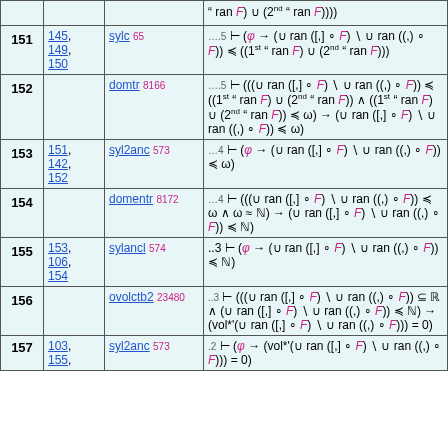| # | Refs | Theorem | Formula |
| --- | --- | --- | --- |
| 151 | 145, 149, 150 | sylc 65 | ....5 ⊢ (φ → (∪ ran ([,] ∘ F) \ ∪ ran ((,) ∘ F)) ≤ ((1st '' ran F) ∪ (2nd '' ran F))) |
| 152 |  | domtr 8166 | ....5 ⊢ (((∪ ran ([,] ∘ F) \ ∪ ran ((,) ∘ F)) ≤ ((1st '' ran F) ∪ (2nd '' ran F)) ∧ ((1st '' ran F) ∪ (2nd '' ran F)) ≤ ω) → (∪ ran ([,] ∘ F) \ ∪ ran ((,) ∘ F)) ≤ ω) |
| 153 | 151, 142, 152 | syl2anc 573 | ...4 ⊢ (φ → (∪ ran ([,] ∘ F) \ ∪ ran ((,) ∘ F)) ≤ ω) |
| 154 |  | domentr 8172 | ...4 ⊢ (((∪ ran ([,] ∘ F) \ ∪ ran ((,) ∘ F)) ≤ ω ∧ ω ≈ ℕ) → (∪ ran ([,] ∘ F) \ ∪ ran ((,) ∘ F)) ≤ ℕ) |
| 155 | 153, 106, 154 | sylancl 574 | ..3 ⊢ (φ → (∪ ran ([,] ∘ F) \ ∪ ran ((,) ∘ F)) ≤ ℕ) |
| 156 |  | ovolctb2 23480 | ..3 ⊢ (((∪ ran ([,] ∘ F) \ ∪ ran ((,) ∘ F)) ⊆ ℝ ∧ (∪ ran ([,] ∘ F) \ ∪ ran ((,) ∘ F)) ≤ ℕ) → (vol*'(∪ ran ([,] ∘ F) \ ∪ ran ((,) ∘ F))) = 0) |
| 157 | 103, 155, | syl2anc 573 | .2 ⊢ (φ → (vol*'(∪ ran ([,] ∘ F) \ ∪ ran ((,) ∘ F))) = 0) |